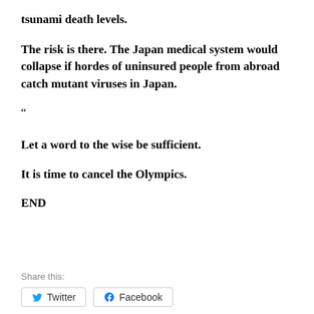tsunami death levels.
The risk is there. The Japan medical system would collapse if hordes of uninsured people from abroad catch mutant viruses in Japan.
“
Let a word to the wise be sufficient.
It is time to cancel the Olympics.
END
Share this:
Twitter
Facebook